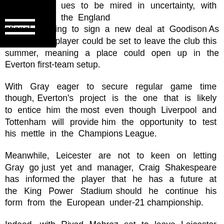[Figure (other): Black header bar with white hamburger menu icon in top-left corner]
...ues to be mired in uncertainty, with the England national refusing to sign a new deal at Goodison. As a result, the player could be set to leave the club this summer, meaning a place could open up in the Everton first-team setup.
With Gray eager to secure regular game time though, Everton's project is the one that is likely to entice him the most even though Liverpool and Tottenham will provide him the opportunity to test his mettle in the Champions League.
Meanwhile, Leicester are not to keen on letting Gray go just yet and manager, Craig Shakespeare has informed the player that he has a future at the King Power Stadium should he continue his form from the European under-21 championship.
Indeed, with Riyad Mahrez set to leave Leicester this summer, Gray could have a chance to resurrect his failing career with the Foxes. It now remains to be seen if he...